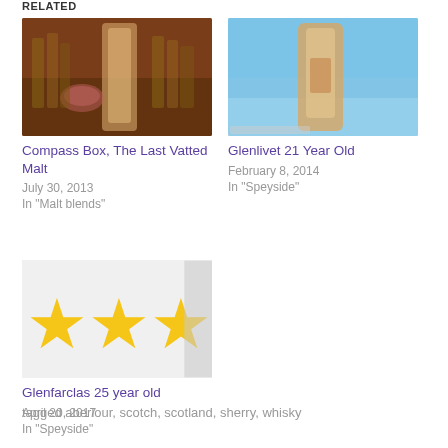RELATED
[Figure (photo): Photo of whisky bar with bottles and a cocktail glass, showing The Last Vatted Malt bottle]
Compass Box, The Last Vatted Malt
July 30, 2013
In "Malt blends"
[Figure (photo): Photo of Glenlivet whisky bottle against blue sky]
Glenlivet 21 Year Old
February 8, 2014
In "Speyside"
[Figure (other): Star rating image showing approximately 4 gold stars]
Glenfarclas 25 year old
April 20, 2017
In "Speyside"
tagged aberlour, scotch, scotland, sherry, whisky